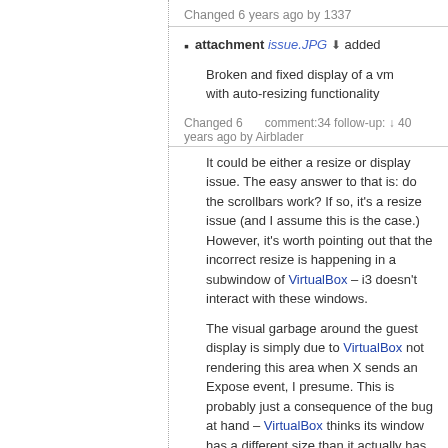Changed 6 years ago by 1337
attachment issue.JPG ⬇ added
Broken and fixed display of a vm with auto-resizing functionality
Changed 6 years ago by Airblader   comment:34 follow-up: ↓ 40
It could be either a resize or display issue. The easy answer to that is: do the scrollbars work? If so, it's a resize issue (and I assume this is the case.) However, it's worth pointing out that the incorrect resize is happening in a subwindow of VirtualBox – i3 doesn't interact with these windows.
The visual garbage around the guest display is simply due to VirtualBox not rendering this area when X sends an Expose event, I presume. This is probably just a consequence of the bug at hand – VirtualBox thinks its window has a different size than it actually has.
I still think we need to understand